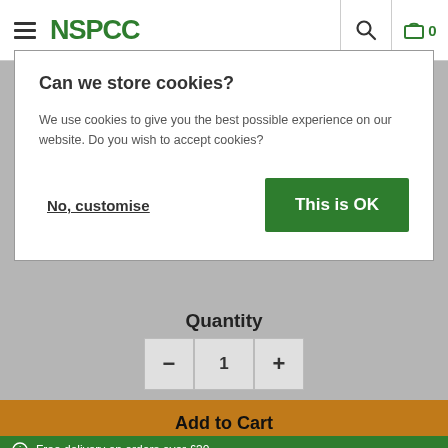NSPCC
Can we store cookies?
We use cookies to give you the best possible experience on our website. Do you wish to accept cookies?
No, customise
This is OK
Quantity
1
Add to Cart
Free delivery on orders over £30